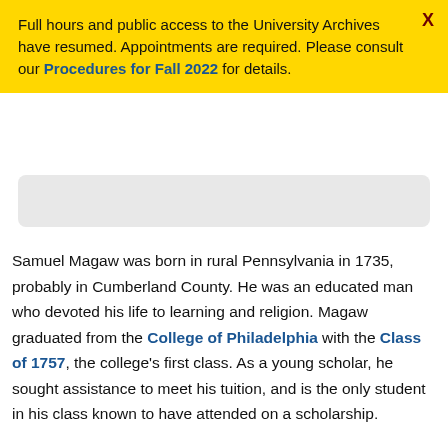Full hours and public access to the University Archives have resumed. Appointments are required. Please consult our Procedures for Fall 2022 for details.
[Figure (other): Search bar input area (partially visible, grayed out)]
Samuel Magaw was born in rural Pennsylvania in 1735, probably in Cumberland County. He was an educated man who devoted his life to learning and religion. Magaw graduated from the College of Philadelphia with the Class of 1757, the college's first class. As a young scholar, he sought assistance to meet his tuition, and is the only student in his class known to have attended on a scholarship.
In 1755, the trustees agreed to establish a series of charity schools aimed to foster education among the